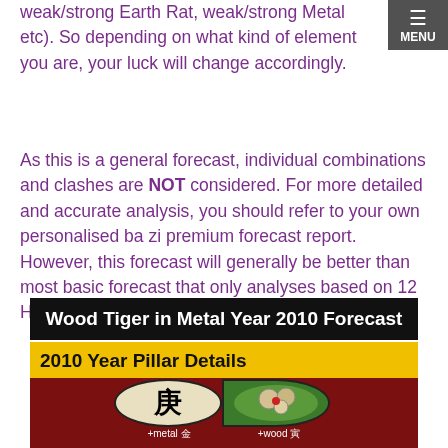weak/strong Earth Rat, weak/strong Metal etc). So depending on what kind of element you are, your luck will change accordingly.
As this is a general forecast, individual combinations and clashes are NOT considered. For more detailed and accurate analysis, you should refer to your own personalised ba zi premium forecast report. However, this forecast will generally be better than most basic forecast that only analyses based on 12 Horoscope Signs.
Wood Tiger in Metal Year 2010 Forecast
2010 Year Pillar Details
[Figure (illustration): Dark red background image showing Chinese metal/wood year pillar with Chinese character for Metal (庚) in oval on white background left side, and Tiger illustration on green background right side, with +metal and +wood captions below]